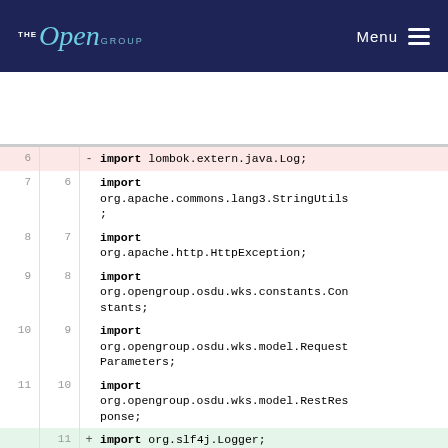THE Open GROUP | Menu
[Figure (screenshot): Code diff view showing Java import statements. Lines 6-12 old vs 6-13 new. Line 6 deleted: import lombok.extern.java.Log; Lines 7-11 unchanged imports, lines 11-12 added: import org.slf4j.Logger; import org.slf4j.LoggerFactory; Line 12/13 import org.springframework.beans.factory.annotation.Autowired;]